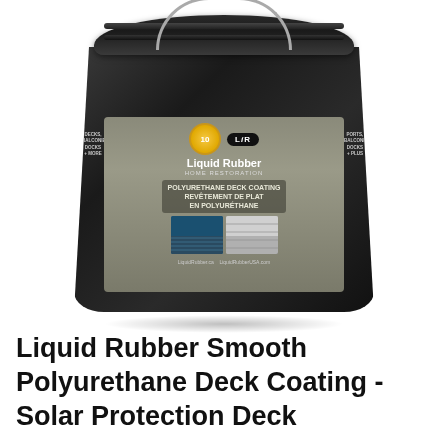[Figure (photo): A large black 5-gallon bucket of Liquid Rubber Home Restoration Smooth Polyurethane Deck Coating. The bucket has a metal handle, a black lid with ribbed details, and a gray product label in the center showing the LR logo, a '10' badge, product name in English and French, two small deck photos, and website URLs. The bucket sits on a white background with a subtle shadow.]
Liquid Rubber Smooth Polyurethane Deck Coating - Solar Protection Deck